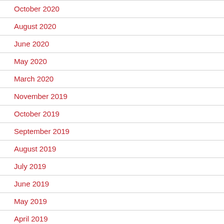October 2020
August 2020
June 2020
May 2020
March 2020
November 2019
October 2019
September 2019
August 2019
July 2019
June 2019
May 2019
April 2019